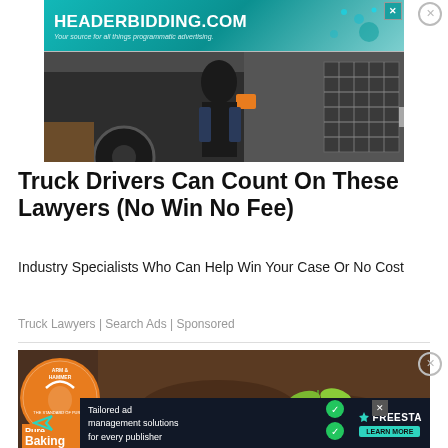[Figure (screenshot): HEADERBIDDING.COM advertisement banner with teal background and text 'Your source for all things programmatic advertising.']
[Figure (photo): Truck driver standing next to a large commercial/semi truck, wearing dark clothing, with orange turn signal visible]
Truck Drivers Can Count On These Lawyers (No Win No Fee)
Industry Specialists Who Can Help Win Your Case Or No Cost
Truck Lawyers | Search Ads | Sponsored
[Figure (photo): Arm & Hammer Baking Soda product box alongside a photo of soil with a seedling plant sprouting, with Freestar ad overlay reading 'Tailored ad management solutions for every publisher' and LEARN MORE button]